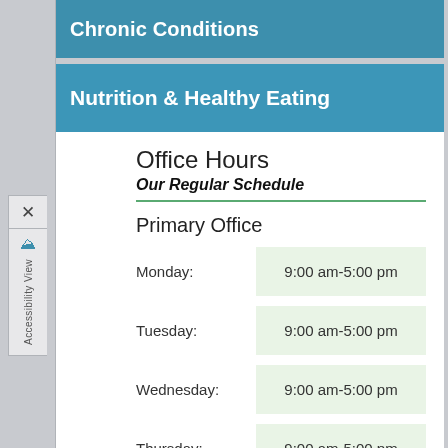Chronic Conditions
Nutrition & Healthy Eating
Office Hours
Our Regular Schedule
Primary Office
| Day | Hours |
| --- | --- |
| Monday: | 9:00 am-5:00 pm |
| Tuesday: | 9:00 am-5:00 pm |
| Wednesday: | 9:00 am-5:00 pm |
| Thursday: | 9:00 am-5:00 pm |